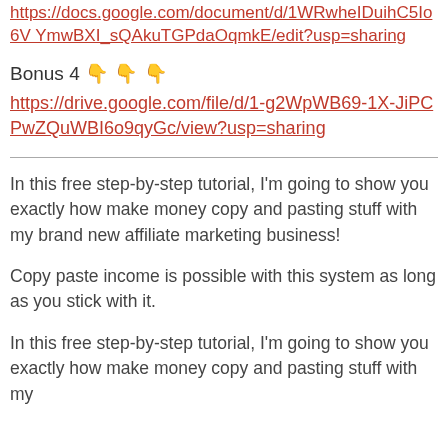https://docs.google.com/document/d/1WRwheIDuihC5Io6VYmwBXI_sQAkuTGPdaOqmkE/edit?usp=sharing
Bonus 4 👇👇👇
https://drive.google.com/file/d/1-g2WpWB69-1X-JiPCPwZQuWBI6o9qyGc/view?usp=sharing
In this free step-by-step tutorial, I'm going to show you exactly how make money copy and pasting stuff with my brand new affiliate marketing business!
Copy paste income is possible with this system as long as you stick with it.
In this free step-by-step tutorial, I'm going to show you exactly how make money copy and pasting stuff with my